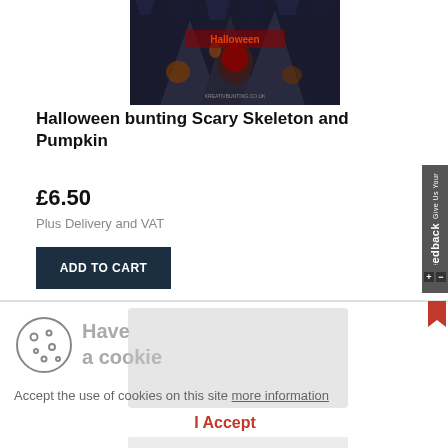[Figure (photo): Halloween bunting product image showing hooded figures with jack-o-lanterns and Halloween branding]
Halloween bunting Scary Skeleton and Pumpkin
£6.50
Plus Delivery and VAT
ADD TO CART
Have a cookie
Accept the use of cookies on this site more information
I Accept